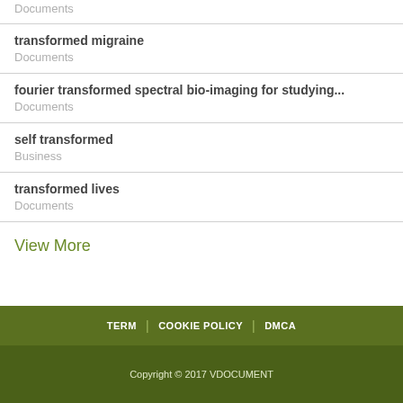Documents
transformed migraine
Documents
fourier transformed spectral bio-imaging for studying...
Documents
self transformed
Business
transformed lives
Documents
View More
TERM | COOKIE POLICY | DMCA
Copyright © 2017 VDOCUMENT